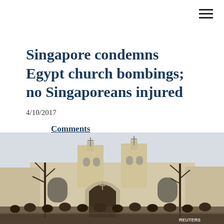Singapore condemns Egypt church bombings; no Singaporeans injured
4/10/2017
Comments
[Figure (photo): Crowd of people gathered outside a Coptic Christian church with two bell towers featuring crosses, taken after the Egypt church bombing. A REUTERS watermark is visible at the bottom right.]